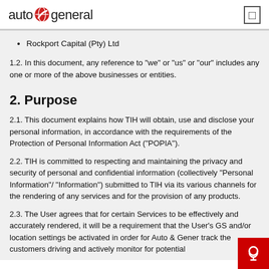auto general
Rockport Capital (Pty) Ltd
1.2. In this document, any reference to "we" or "us" or "our" includes any one or more of the above businesses or entities.
2. Purpose
2.1. This document explains how TIH will obtain, use and disclose your personal information, in accordance with the requirements of the Protection of Personal Information Act ("POPIA").
2.2. TIH is committed to respecting and maintaining the privacy and security of personal and confidential information (collectively "Personal Information"/ "Information") submitted to TIH via its various channels for the rendering of any services and for the provision of any products.
2.3. The User agrees that for certain Services to be effectively and accurately rendered, it will be a requirement that the User's GS and/or location settings be activated in order for Auto & Gener track the customers driving and actively monitor for potential